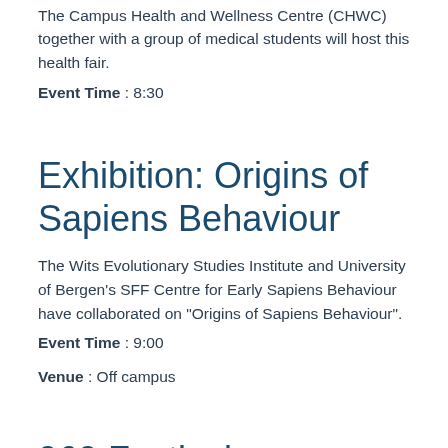The Campus Health and Wellness Centre (CHWC) together with a group of medical students will host this health fair.
Event Time : 8:30
Exhibition: Origins of Sapiens Behaviour
The Wits Evolutionary Studies Institute and University of Bergen's SFF Centre for Early Sapiens Behaviour have collaborated on "Origins of Sapiens Behaviour".
Event Time : 9:00
Venue : Off campus
969 Festival